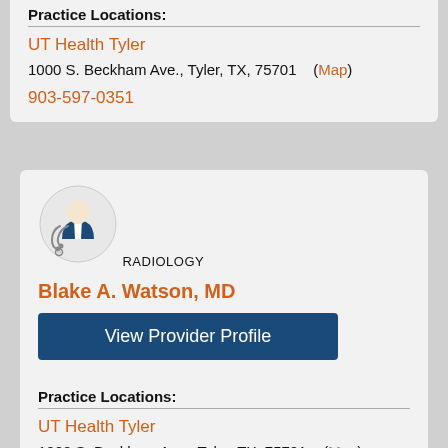Practice Locations:
UT Health Tyler
1000 S. Beckham Ave., Tyler, TX, 75701   (Map)
903-597-0351
[Figure (illustration): Doctor icon with stethoscope and blue coat, Radiology specialty]
RADIOLOGY
Blake A. Watson, MD
View Provider Profile
Practice Locations:
UT Health Tyler
1000 S. Beckham Ave., Tyler, TX, 75701   (Map)